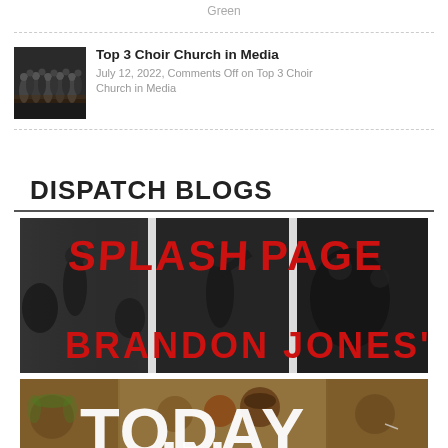Green
[Figure (photo): Thumbnail of a choir in a church]
Top 3 Choir Church in Media
July 12, 2022, Comments Off on Top 3 Choir Church in Media
DISPATCH BLOGS
[Figure (illustration): Splash Page banner with red text 'SPLASH PAGE' and 'BRANDON JONES' over black and white collage of figures]
[Figure (illustration): Today In banner with large white letters 'TODAY IN' over sepia collage of historical figures and headlines]